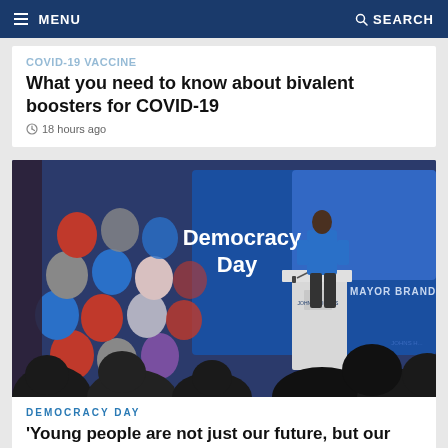MENU   SEARCH
What you need to know about bivalent boosters for COVID-19
18 hours ago
[Figure (photo): A speaker stands at a Johns Hopkins podium at a 'Democracy Day' event, with a blue banner reading 'Democracy Day' and 'Mayor Brandon Scott' visible. Red, white, and blue balloons decorate the left side. Audience silhouettes are in the foreground.]
DEMOCRACY DAY
'Young people are not just our future, but our right now'
3 days ago |